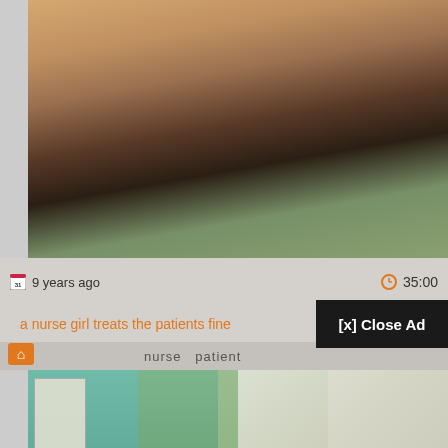[Figure (screenshot): Close-up photo of a woman with hoop earring, neck and shoulder visible, dark hair, against green background]
9 years ago
35:00
a nurse girl treats the patients fine
[x] Close Ad
nurse  patient
[Figure (screenshot): Video screenshot showing two people in a medical office setting, one in teal shirt and one in white coat, with anatomical chart on wall]